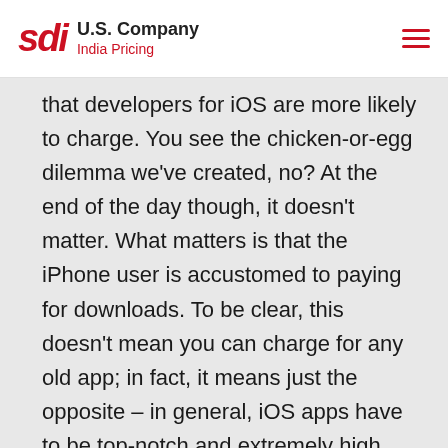sdi U.S. Company India Pricing
that developers for iOS are more likely to charge. You see the chicken-or-egg dilemma we've created, no? At the end of the day though, it doesn't matter. What matters is that the iPhone user is accustomed to paying for downloads. To be clear, this doesn't mean you can charge for any old app; in fact, it means just the opposite – in general, iOS apps have to be top-notch and extremely high quality.